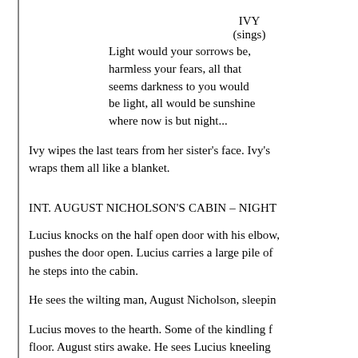IVY
(sings)
Light would your sorrows be, harmless your fears, all that seems darkness to you would be light, all would be sunshine where now is but night...
Ivy wipes the last tears from her sister's face. Ivy's wraps them all like a blanket.
INT. AUGUST NICHOLSON'S CABIN – NIGHT
Lucius knocks on the half open door with his elbow, pushes the door open. Lucius carries a large pile of he steps into the cabin.
He sees the wilting man, August Nicholson, sleepin
Lucius moves to the hearth. Some of the kindling f floor. August stirs awake. He sees Lucius kneeling